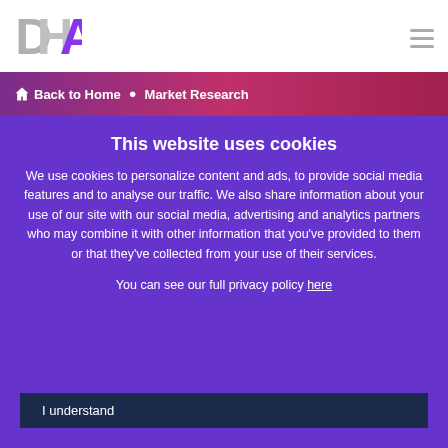[Figure (logo): DHA logo in grey and purple lettering]
Back to Home · Market Research
This website uses cookies
We use cookies to personalize content and ads, to provide social media features and to analyse our traffic. We also share information about your use of our site with our social media, advertising and analytics partners who may combine it with other information that you've provided to them or that they've collected from your use of their services.
You can see our full privacy policy here
I understand